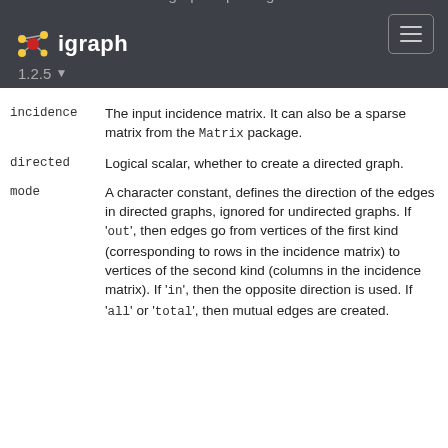igraph R package
igraph 1.2.5
incidence The input incidence matrix. It can also be a sparse matrix from the Matrix package.
directed Logical scalar, whether to create a directed graph.
mode A character constant, defines the direction of the edges in directed graphs, ignored for undirected graphs. If 'out', then edges go from vertices of the first kind (corresponding to rows in the incidence matrix) to vertices of the second kind (columns in the incidence matrix). If 'in', then the opposite direction is used. If 'all' or 'total', then mutual edges are created.